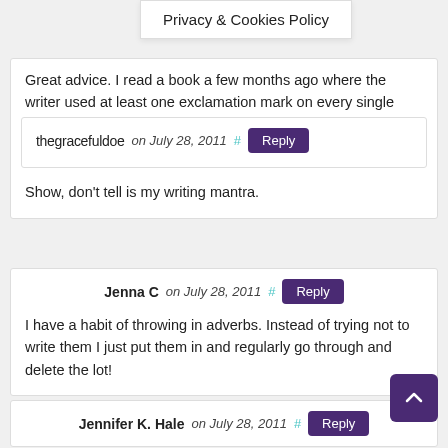Privacy & Cookies Policy
thegracefuldoe on July 28, 2011  #  Reply
Great advice. I read a book a few months ago where the writer used at least one exclamation mark on every single page. On one page I counted ten. I was too distracted counting the exclamation marks to get into the story.

Show, don't tell is my writing mantra.
Jenna C on July 28, 2011  #  Reply
I have a habit of throwing in adverbs. Instead of trying not to write them I just put them in and regularly go through and delete the lot!
Jennifer K. Hale on July 28, 2011  #  Reply